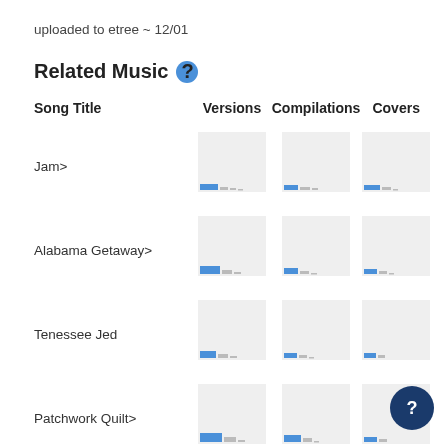uploaded to etree ~ 12/01
Related Music
| Song Title | Versions | Compilations | Covers |
| --- | --- | --- | --- |
| Jam> | [bar chart] | [bar chart] | [bar chart] |
| Alabama Getaway> | [bar chart] | [bar chart] | [bar chart] |
| Tenessee Jed | [bar chart] | [bar chart] | [bar chart] |
| Patchwork Quilt> | [bar chart] | [bar chart] | [bar chart] |
| Jam > | [bar chart] | [bar chart] | [bar chart] |